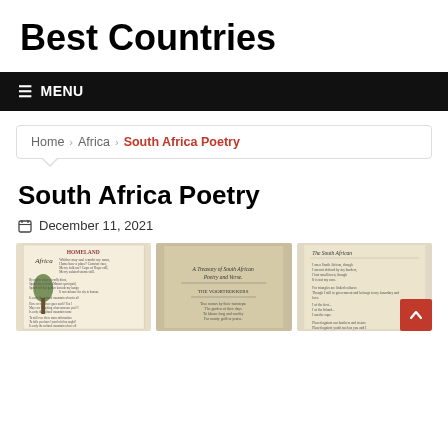Best Countries
☰ MENU
Home > Africa > South Africa Poetry
South Africa Poetry
December 11, 2021
[Figure (photo): Three thumbnail images of South Africa Poetry content: a vintage Africa poem page with tree illustration, a 'A Treasury of South African Poetry and Verse' book page with 'THE VOORTREKKERS' poem, and a page titled 'The South African' with poem text.]